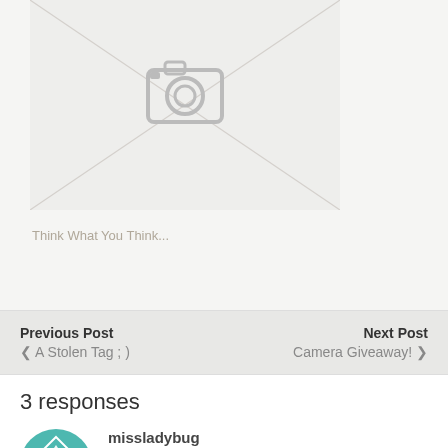[Figure (photo): Placeholder image with camera icon and diagonal lines on grey background]
Think What You Think...
Previous Post
‹ A Stolen Tag ; )
Next Post
Camera Giveaway! ›
3 responses
missladybug
February 11, 2009
I like your answers! I got that in an email and I thought about using it =)